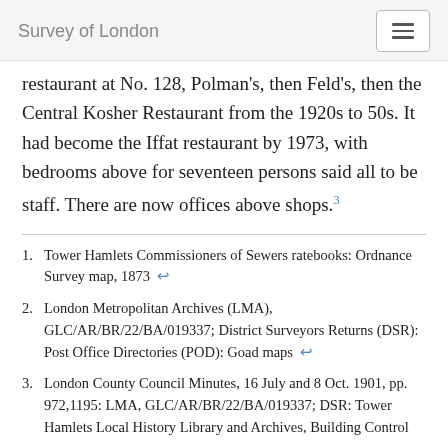Survey of London
restaurant at No. 128, Polman's, then Feld's, then the Central Kosher Restaurant from the 1920s to 50s. It had become the Iffat restaurant by 1973, with bedrooms above for seventeen persons said all to be staff. There are now offices above shops.³
1. Tower Hamlets Commissioners of Sewers ratebooks: Ordnance Survey map, 1873 ←
2. London Metropolitan Archives (LMA), GLC/AR/BR/22/BA/019337; District Surveyors Returns (DSR): Post Office Directories (POD): Goad maps ←
3. London County Council Minutes, 16 July and 8 Oct. 1901, pp. 972,1195: LMA, GLC/AR/BR/22/BA/019337; DSR: Tower Hamlets Local History Library and Archives, Building Control